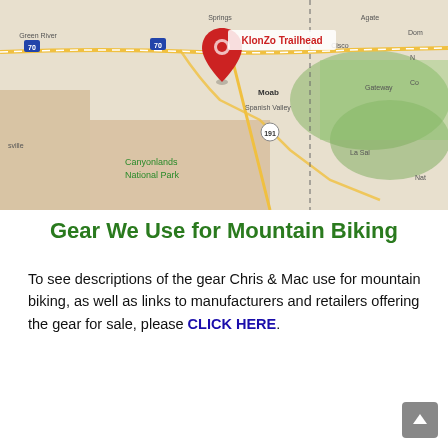[Figure (map): Google Maps screenshot showing KlonZo Trailhead near Moab, Utah. The map shows Interstate 70, Spanish Valley, Canyonlands National Park, La Sal, Gateway, and other landmarks. A red pin marks the KlonZo Trailhead location with a label reading 'KlonZo Trailhead'.]
Gear We Use for Mountain Biking
To see descriptions of the gear Chris & Mac use for mountain biking, as well as links to manufacturers and retailers offering the gear for sale, please CLICK HERE.